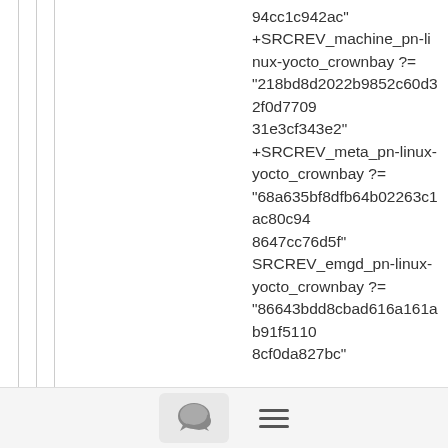94cc1c942ac" +SRCREV_machine_pn-linux-yocto_crownbay ?= "218bd8d2022b9852c60d32f0d770931e3cf343e2" +SRCREV_meta_pn-linux-yocto_crownbay ?= "68a635bf8dfb64b02263c1ac80c948647cc76d5f" SRCREV_emgd_pn-linux-yocto_crownbay ?= "86643bdd8cbad616a161ab91f51108cf0da827bc" -SRCREV_machine_pn-linux-yocto_crownbay-noemgd ?= "449f7f520350700858f21a5554b81cc8ad23267d" -SRCREV_meta_pn-linux-
[Figure (other): Chat bubble icon button in toolbar]